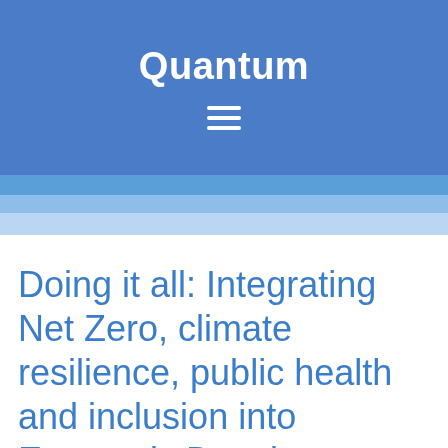Quantum
Doing it all: Integrating Net Zero, climate resilience, public health and inclusion into Economic Development Strategies